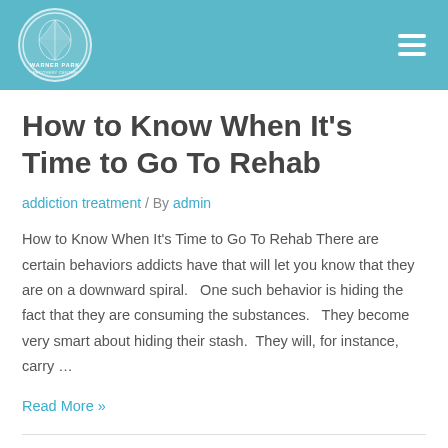Warner Park Recovery Center
How to Know When It’s Time to Go To Rehab
addiction treatment / By admin
How to Know When It’s Time to Go To Rehab There are certain behaviors addicts have that will let you know that they are on a downward spiral.   One such behavior is hiding the fact that they are consuming the substances.   They become very smart about hiding their stash.  They will, for instance, carry …
Read More »